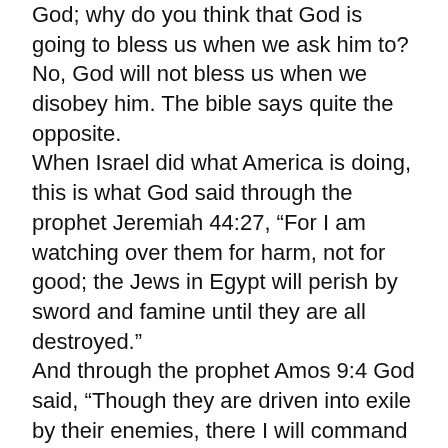God; why do you think that God is going to bless us when we ask him to? No, God will not bless us when we disobey him. The bible says quite the opposite. When Israel did what America is doing, this is what God said through the prophet Jeremiah 44:27, “For I am watching over them for harm, not for good; the Jews in Egypt will perish by sword and famine until they are all destroyed.” And through the prophet Amos 9:4 God said, “Though they are driven into exile by their enemies, there I will command the sword to slay them. I will keep my eye on them for harm and not for good.”
When we disobey, God punishes us. He does not promise to bless us. The tornadoes, the hurricanes, the cancer, diabetes, the flu which kills over 40,000 Americans a year, and plagues like COVID-19 which has killed over 400,000 now. These are not blessings. These